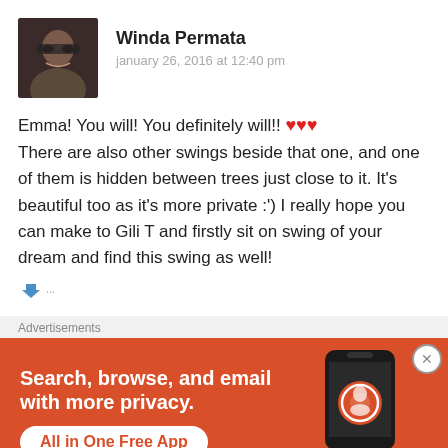[Figure (photo): Profile photo of Winda Permata - young woman with glasses, dark hair, smiling]
Winda Permata
january 26, 2016 at 12:40 pm
Emma! You will! You definitely will!! ❤❤❤ There are also other swings beside that one, and one of them is hidden between trees just close to it. It's beautiful too as it's more private :') I really hope you can make to Gili T and firstly sit on swing of your dream and find this swing as well!
Advertisements
[Figure (screenshot): DuckDuckGo advertisement: Search, browse, and email with more privacy. All in One Free App. Shows phone with DuckDuckGo logo.]